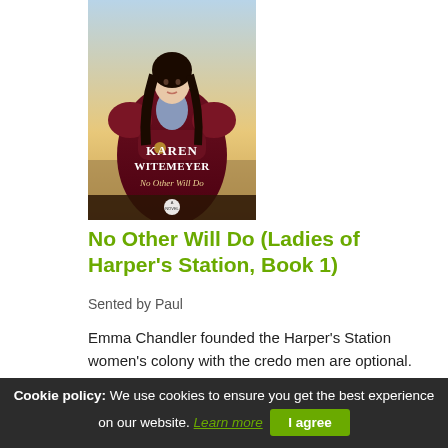[Figure (illustration): Book cover of 'No Other Will Do' by Karen Witemeyer. Shows a woman in a dark red Victorian-era dress with arms crossed, with text 'KAREN WITEMEYER' and 'No Other Will Do' on the cover, and 'A Novel' at the bottom.]
No Other Will Do (Ladies of Harper's Station, Book 1)
Sented by Paul
Emma Chandler founded the Harper's Station women's colony with the credo men are optional. But when the town is threatened, Emma has to admit they might need a man after all-one who can fight. The
Cookie policy: We use cookies to ensure you get the best experience on our website. Learn more  I agree